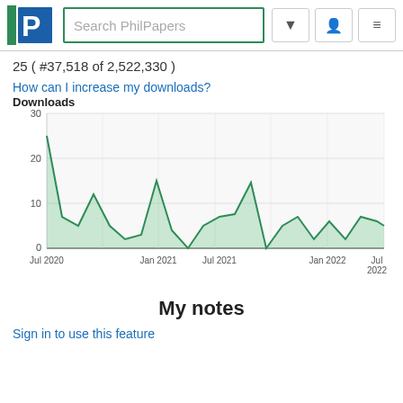[Figure (screenshot): PhilPapers website header with logo, search box, and navigation buttons]
25 ( #37,518 of 2,522,330 )
How can I increase my downloads?
Downloads
[Figure (area-chart): Downloads]
My notes
Sign in to use this feature